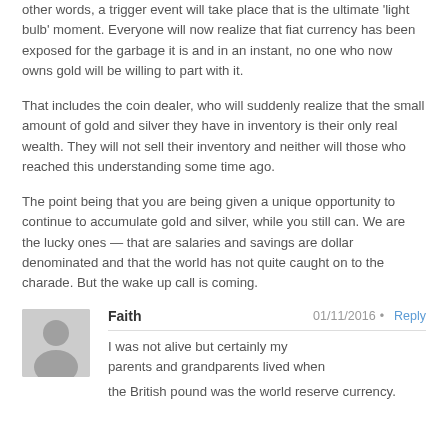other words, a trigger event will take place that is the ultimate 'light bulb' moment. Everyone will now realize that fiat currency has been exposed for the garbage it is and in an instant, no one who now owns gold will be willing to part with it.
That includes the coin dealer, who will suddenly realize that the small amount of gold and silver they have in inventory is their only real wealth. They will not sell their inventory and neither will those who reached this understanding some time ago.
The point being that you are being given a unique opportunity to continue to accumulate gold and silver, while you still can. We are the lucky ones — that are salaries and savings are dollar denominated and that the world has not quite caught on to the charade. But the wake up call is coming.
[Figure (illustration): Gray avatar placeholder showing a silhouette of a person (head and shoulders)]
Faith   01/11/2016 • Reply
I was not alive but certainly my parents and grandparents lived when the British pound was the world reserve currency.